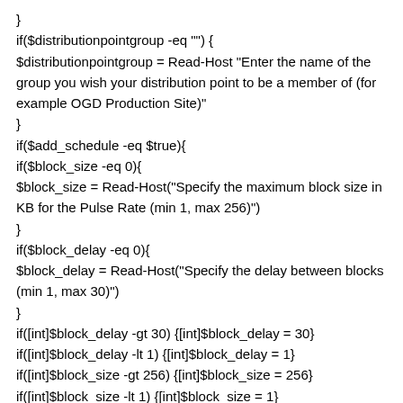}
if($distributionpointgroup -eq "") {
$distributionpointgroup = Read-Host "Enter the name of the group you wish your distribution point to be a member of (for example OGD Production Site)"
}
if($add_schedule -eq $true){
if($block_size -eq 0){
$block_size = Read-Host("Specify the maximum block size in KB for the Pulse Rate (min 1, max 256)")
}
if($block_delay -eq 0){
$block_delay = Read-Host("Specify the delay between blocks (min 1, max 30)")
}
if([int]$block_delay -gt 30) {[int]$block_delay = 30}
if([int]$block_delay -lt 1) {[int]$block_delay = 1}
if([int]$block_size -gt 256) {[int]$block_size = 256}
if([int]$block_size -lt 1) {[int]$block_size = 1}